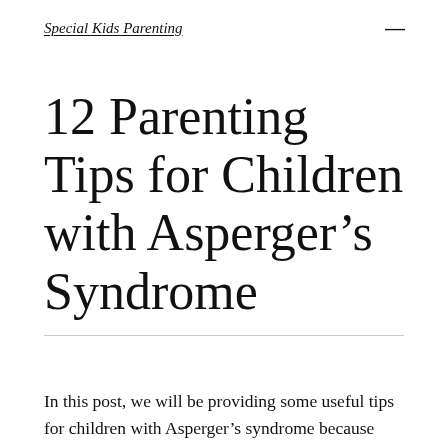Special Kids Parenting
12 Parenting Tips for Children with Asperger's Syndrome
In this post, we will be providing some useful tips for children with Asperger's syndrome because